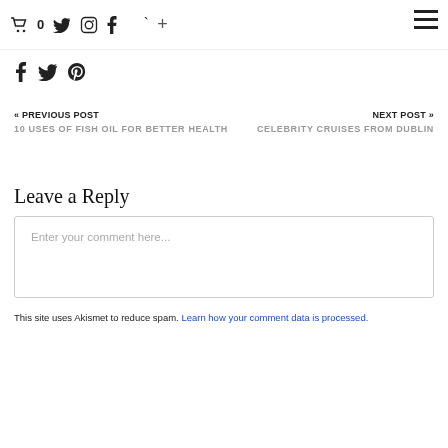🛒 0  Twitter  Instagram  Facebook  YouTube  +  [hamburger menu]
Astaxanthin
Plant-based eating Watch Lorna's interview before ...
[Figure (infographic): Social share icons: Facebook, Twitter, Pinterest]
« PREVIOUS POST
10 USES OF FISH OIL FOR BETTER HEALTH
NEXT POST »
CELEBRITY CRUISES FROM DUBLIN
Leave a Reply
Enter your comment here...
This site uses Akismet to reduce spam. Learn how your comment data is processed.